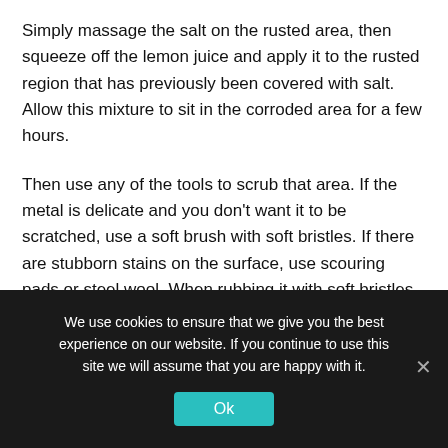Simply massage the salt on the rusted area, then squeeze off the lemon juice and apply it to the rusted region that has previously been covered with salt. Allow this mixture to sit in the corroded area for a few hours.
Then use any of the tools to scrub that area. If the metal is delicate and you don't want it to be scratched, use a soft brush with soft bristles. If there are stubborn stains on the surface, use scouring pads or steel wool. When rubbing it with soft bristles, you will have to use more effort.
You may also use lemon juice to remove rust from any cloth.
We use cookies to ensure that we give you the best experience on our website. If you continue to use this site we will assume that you are happy with it.